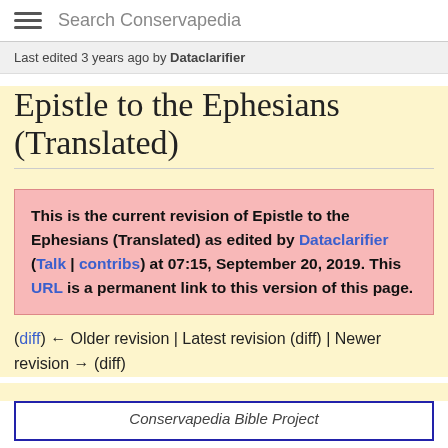Search Conservapedia
Last edited 3 years ago by Dataclarifier
Epistle to the Ephesians (Translated)
This is the current revision of Epistle to the Ephesians (Translated) as edited by Dataclarifier (Talk | contribs) at 07:15, September 20, 2019. This URL is a permanent link to this version of this page.
(diff) ← Older revision | Latest revision (diff) | Newer revision → (diff)
Conservapedia Bible Project